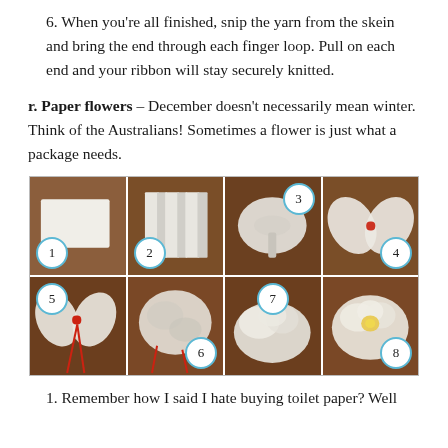6. When you're all finished, snip the yarn from the skein and bring the end through each finger loop. Pull on each end and your ribbon will stay securely knitted.
r. Paper flowers – December doesn't necessarily mean winter. Think of the Australians! Sometimes a flower is just what a package needs.
[Figure (photo): 8-step photo tutorial showing how to make paper flowers from tissue paper. Steps 1-8 shown in a 4x2 grid of photos on a wooden surface, each numbered with a circle badge.]
1. Remember how I said I hate buying toilet paper? Well